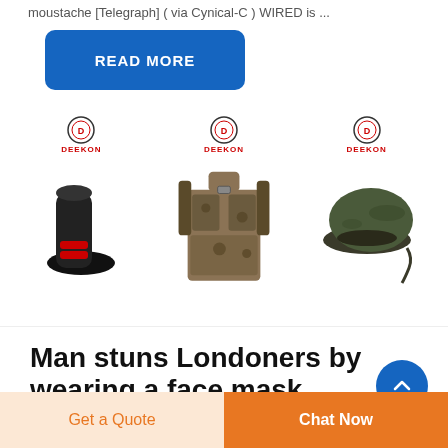moustache [Telegraph] ( via Cynical-C ) WIRED is ...
READ MORE
[Figure (photo): Three product photos with DEEKON logos: a black and red boot/sock, a camouflage tactical vest with straps, and an olive green military beret]
Man stuns Londoners by wearing a face mask
Get a Quote
Chat Now